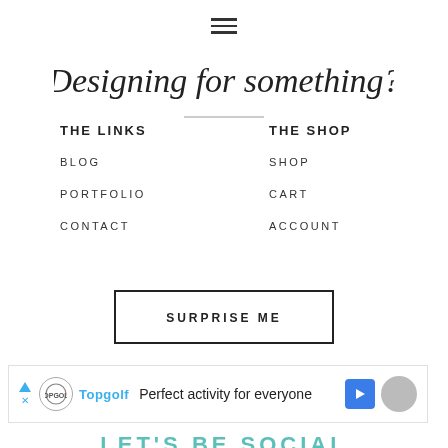[Figure (other): Hamburger menu icon — three horizontal lines]
Designing for something?
THE LINKS
THE SHOP
BLOG
SHOP
PORTFOLIO
CART
CONTACT
ACCOUNT
SURPRISE ME
[Figure (screenshot): Advertisement banner: Topgolf — Perfect activity for everyone]
LET'S BE SOCIAL